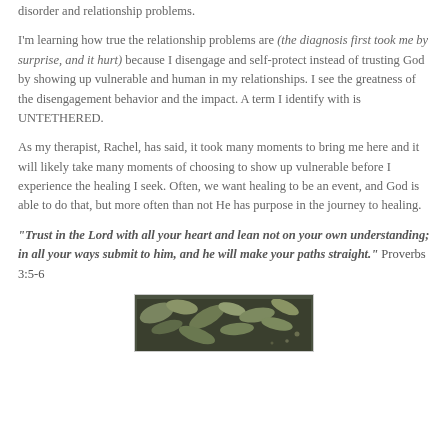disorder and relationship problems.
I'm learning how true the relationship problems are (the diagnosis first took me by surprise, and it hurt) because I disengage and self-protect instead of trusting God by showing up vulnerable and human in my relationships. I see the greatness of the disengagement behavior and the impact. A term I identify with is UNTETHERED.
As my therapist, Rachel, has said, it took many moments to bring me here and it will likely take many moments of choosing to show up vulnerable before I experience the healing I seek. Often, we want healing to be an event, and God is able to do that, but more often than not He has purpose in the journey to healing.
"Trust in the Lord with all your heart and lean not on your own understanding; in all your ways submit to him, and he will make your paths straight." Proverbs 3:5-6
[Figure (photo): A dark-toned photograph of green leaves on a dark background, partially visible at the bottom of the page.]